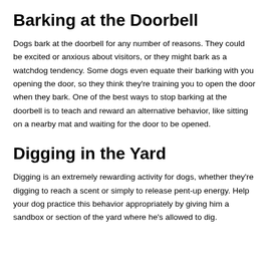Barking at the Doorbell
Dogs bark at the doorbell for any number of reasons. They could be excited or anxious about visitors, or they might bark as a watchdog tendency. Some dogs even equate their barking with you opening the door, so they think they’re training you to open the door when they bark. One of the best ways to stop barking at the doorbell is to teach and reward an alternative behavior, like sitting on a nearby mat and waiting for the door to be opened.
Digging in the Yard
Digging is an extremely rewarding activity for dogs, whether they’re digging to reach a scent or simply to release pent-up energy. Help your dog practice this behavior appropriately by giving him a sandbox or section of the yard where he's allowed to dig.